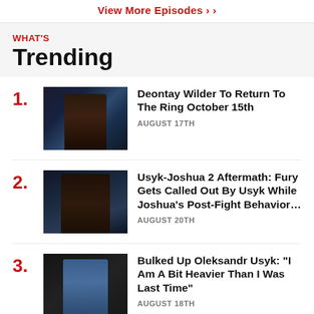View More Episodes >
WHAT'S Trending
1. Deontay Wilder To Return To The Ring October 15th — AUGUST 17TH
2. Usyk-Joshua 2 Aftermath: Fury Gets Called Out By Usyk While Joshua's Post-Fight Behavior... — AUGUST 20TH
3. Bulked Up Oleksandr Usyk: "I Am A Bit Heavier Than I Was Last Time" — AUGUST 18TH